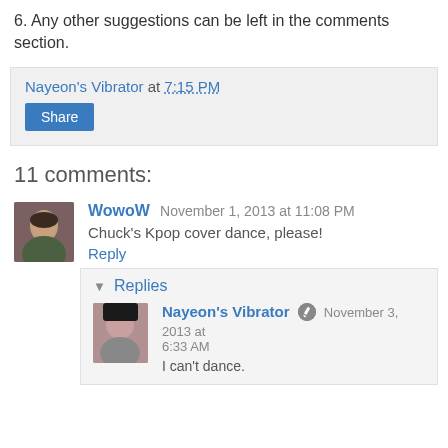6. Any other suggestions can be left in the comments section.
Nayeon's Vibrator at 7:15 PM
Share
11 comments:
WowoW  November 1, 2013 at 11:08 PM
Chuck's Kpop cover dance, please!
Reply
Replies
Nayeon's Vibrator  November 3, 2013 at 6:33 AM
I can't dance.